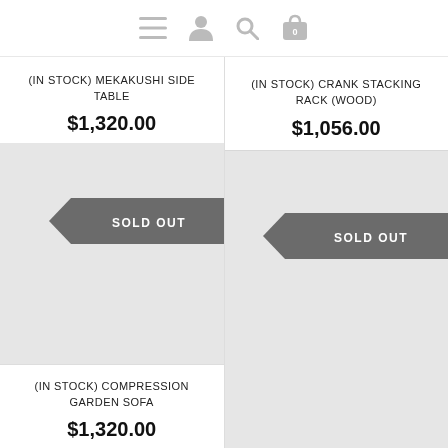Navigation icons: menu, user, search, cart (0)
(IN STOCK) MEKAKUSHI SIDE TABLE
$1,320.00
[Figure (other): Product image placeholder with SOLD OUT banner ribbon]
(IN STOCK) COMPRESSION GARDEN SOFA
$1,320.00
(IN STOCK) CRANK STACKING RACK (WOOD)
$1,056.00
[Figure (other): Product image placeholder with SOLD OUT banner ribbon]